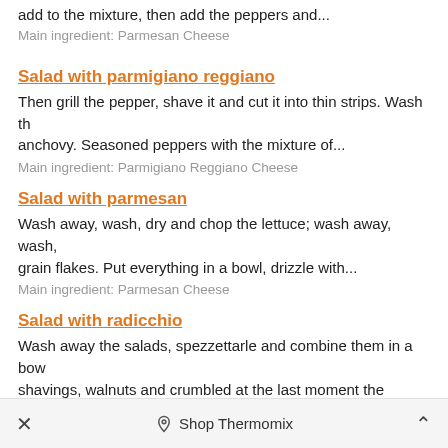add to the mixture, then add the peppers and...
Main ingredient: Parmesan Cheese
Salad with parmigiano reggiano
Then grill the pepper, shave it and cut it into thin strips. Wash th anchovy. Seasoned peppers with the mixture of...
Main ingredient: Parmigiano Reggiano Cheese
Salad with parmesan
Wash away, wash, dry and chop the lettuce; wash away, wash, grain flakes. Put everything in a bowl, drizzle with...
Main ingredient: Parmesan Cheese
Salad with radicchio
Wash away the salads, spezzettarle and combine them in a bow shavings, walnuts and crumbled at the last moment the PEAR,...
Main ingredient: Radicchio
✕  Shop Thermomix  ∧